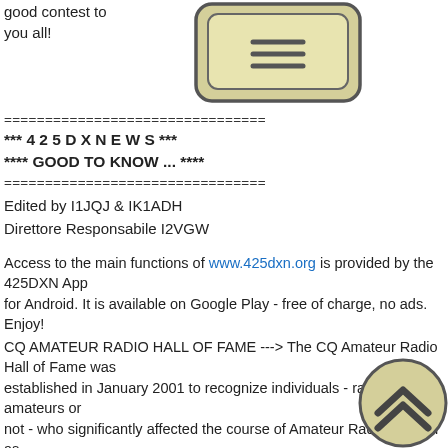good contest to you all!
[Figure (illustration): Stylized smartphone/tablet icon with rounded rectangle shape and three horizontal lines (hamburger menu) in the center, on a tan/khaki background]
================================
*** 4 2 5 D X N E W S ***
**** GOOD TO KNOW ... ****
================================
Edited by I1JQJ & IK1ADH
Direttore Responsabile I2VGW
Access to the main functions of www.425dxn.org is provided by the 425DXN App for Android. It is available on Google Play - free of charge, no ads. Enjoy!
CQ AMATEUR RADIO HALL OF FAME ---> The CQ Amateur Radio Hall of Fame was established in January 2001 to recognize individuals - radio amateurs or not - who significantly affected the course of Amateur Radio, as well as radio amateurs who have made significant contributions either to amateur radio, to their professional careers or to some other aspect of
[Figure (illustration): Circular scroll-to-top button with double chevron/arrow up icon, tan/khaki background with dark border]